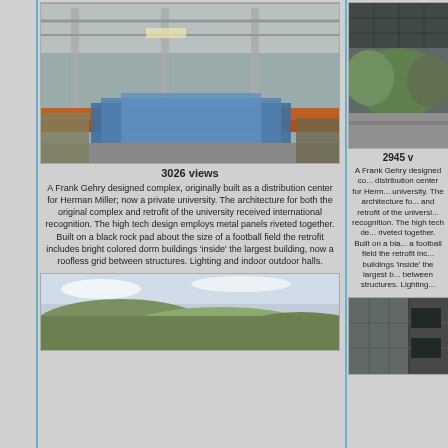[Figure (photo): Interior of a warehouse/distribution center showing high ceilings, metal structure, storage racks and blue wrapped pallets]
3026 views
A Frank Gehry designed complex, originally built as a distribution center for Herman Miller; now a private university. The architecture for both the original complex and retrofit of the university received international recognition. The high tech design employs metal panels riveted together. Built on a black rock pad about the size of a football field the retrofit includes bright colored dorm buildings 'inside' the largest building, now a roofless grid between structures. Lighting and indoor outdoor halls.
[Figure (photo): Outdoor area showing trees, solar panels overhead, and paved surface]
2945 v
A Frank Gehry designed co... distribution center for Herm... university. The architecture fo... and retrofit of the universi... recognition. The high tech de... riveted together. Built on a bla... a football field the retrofit inc... buildings 'inside' the largest b... between structures. Lighting...
[Figure (photo): Landscape panoramic photo showing rolling hills and trees]
[Figure (photo): Exterior corner of a building with metal panel cladding]